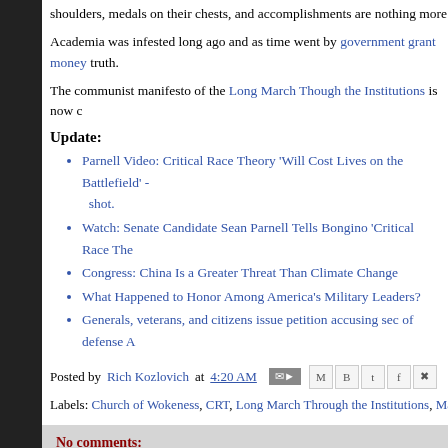shoulders, medals on their chests, and accomplishments are nothing more than
Academia was infested long ago and as time went by government grant money truth.
The communist manifesto of the Long March Though the Institutions is now c
Update:
Parnell Video: Critical Race Theory 'Will Cost Lives on the Battlefield' - shot.
Watch: Senate Candidate Sean Parnell Tells Bongino 'Critical Race The
Congress: China Is a Greater Threat Than Climate Change
What Happened to Honor Among America's Military Leaders?
Generals, veterans, and citizens issue petition accusing sec of defense A
Posted by Rich Kozlovich at 4:20 AM
Labels: Church of Wokeness, CRT, Long March Through the Institutions, Mar
No comments:
Post a Comment
Enter Comment